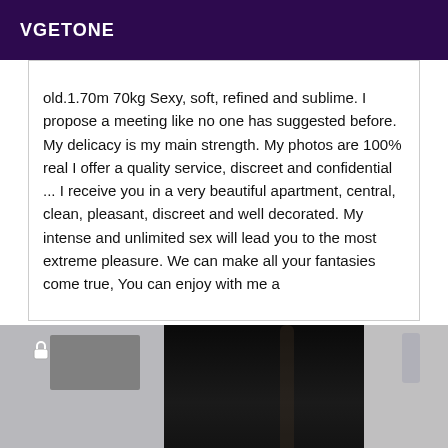VGETONE
old.1.70m 70kg Sexy, soft, refined and sublime. I propose a meeting like no one has suggested before. My delicacy is my main strength. My photos are 100% real I offer a quality service, discreet and confidential ... I receive you in a very beautiful apartment, central, clean, pleasant, discreet and well decorated. My intense and unlimited sex will lead you to the most extreme pleasure. We can make all your fantasies come true, You can enjoy with me a
[Figure (photo): Photo of a person with long black hair, partial view showing hair and shoulder against a gray background with a padlock icon and gray box visible]